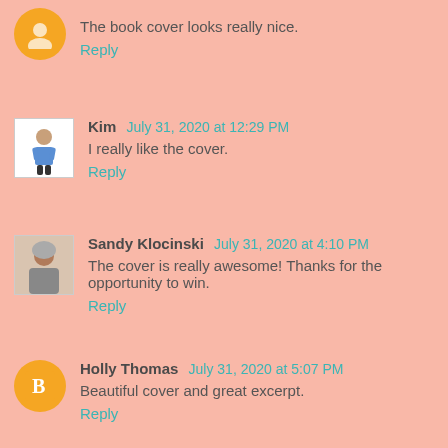The book cover looks really nice.
Reply
Kim  July 31, 2020 at 12:29 PM
I really like the cover.
Reply
Sandy Klocinski  July 31, 2020 at 4:10 PM
The cover is really awesome! Thanks for the opportunity to win.
Reply
Holly Thomas  July 31, 2020 at 5:07 PM
Beautiful cover and great excerpt.
Reply